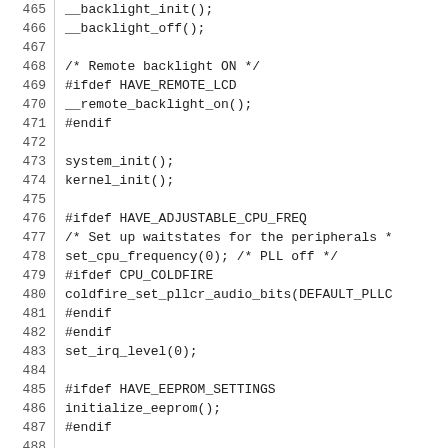465   __backlight_init();
466   __backlight_off();
467   
468          /* Remote backlight ON */
469   #ifdef HAVE_REMOTE_LCD
470          __remote_backlight_on();
471   #endif
472   
473          system_init();
474          kernel_init();
475   
476   #ifdef HAVE_ADJUSTABLE_CPU_FREQ
477          /* Set up waitstates for the peripherals *
478          set_cpu_frequency(0); /* PLL off */
479   #ifdef CPU_COLDFIRE
480          coldfire_set_pllcr_audio_bits(DEFAULT_PLLC
481   #endif
482   #endif
483          set_irq_level(0);
484   
485   #ifdef HAVE_EEPROM_SETTINGS
486          initialize_eeprom();
487   #endif
488   
489          adc_init();
490          button_init();
491   
492          if ((on_button && button_hold()) ||
493                  (rc_on_button && remote_button_hold()
494          {